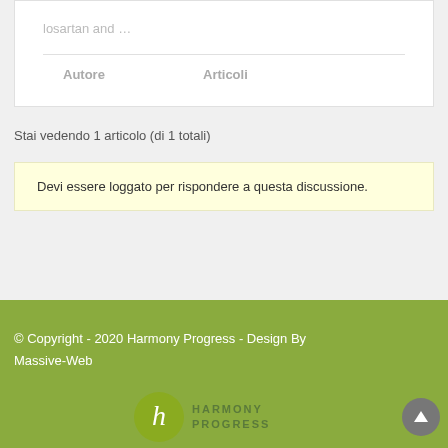losartan and …
| Autore | Articoli |
| --- | --- |
Stai vedendo 1 articolo (di 1 totali)
Devi essere loggato per rispondere a questa discussione.
© Copyright - 2020 Harmony Progress - Design By Massive-Web